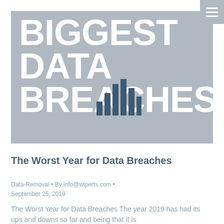[Figure (illustration): Large banner image with gray background showing bold white text reading BIGGEST DATA BREACHES with a bar chart icon in the center]
The Worst Year for Data Breaches
Data-Removal • By info@wiperts.com • September 25, 2019
The Worst Year for Data Breaches The year 2019 has had its ups and downs so far and being that it is